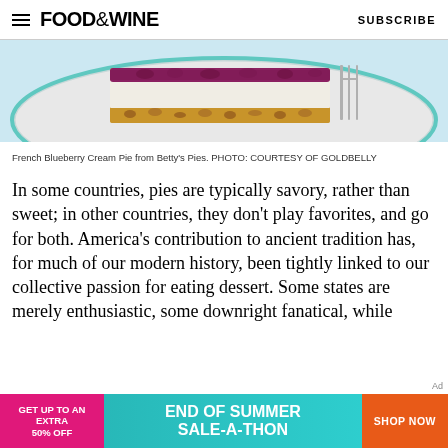FOOD&WINE  SUBSCRIBE
[Figure (photo): French Blueberry Cream Pie slice on a white plate with a light blue background, showing layers of crust, cream, and blueberry topping with a fork visible]
French Blueberry Cream Pie from Betty's Pies. PHOTO: COURTESY OF GOLDBELLY
In some countries, pies are typically savory, rather than sweet; in other countries, they don't play favorites, and go for both. America's contribution to ancient tradition has, for much of our modern history, been tightly linked to our collective passion for eating dessert. Some states are merely enthusiastic, some downright fanatical, while
[Figure (infographic): Advertisement banner: GET UP TO AN EXTRA 50% OFF | END OF SUMMER SALE-A-THON | SHOP NOW]